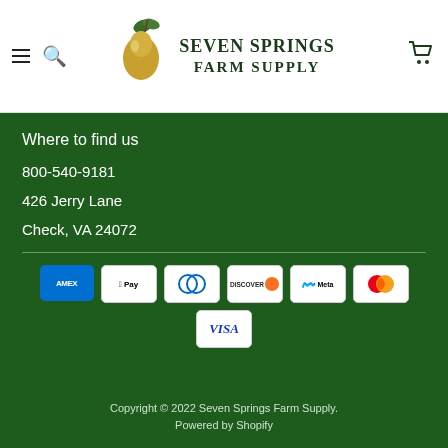[Figure (logo): Seven Springs Farm Supply logo with pear illustration and store name]
Where to find us
800-540-9181
426 Jerry Lane
Check, VA 24072
[Figure (infographic): Payment method icons: American Express, Apple Pay, Diners Club, Discover, Meta Pay, Mastercard, Visa]
Copyright © 2022 Seven Springs Farm Supply.
Powered by Shopify